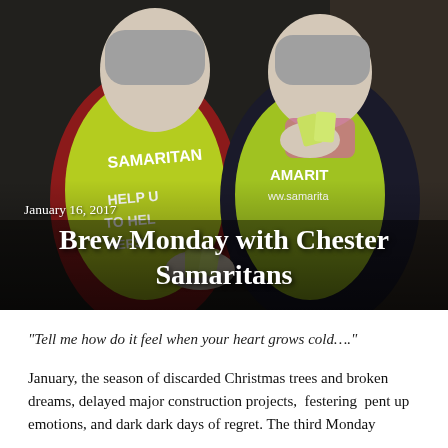[Figure (photo): Two women wearing bright yellow-green Samaritans vests outdoors. The left vest reads 'SAMARITANS HELP US TO HELP OTHERS'. The right vest reads 'SAMARITANS www.samaritans.org'. The woman on the right is holding up small green cards/leaflets. Date overlay reads 'January 16, 2017'. Title overlay reads 'Brew Monday with Chester Samaritans'.]
“Tell me how do it feel when your heart grows cold….”
January, the season of discarded Christmas trees and broken dreams, delayed major construction projects,  festering  pent up emotions, and dark dark days of regret. The third Monday